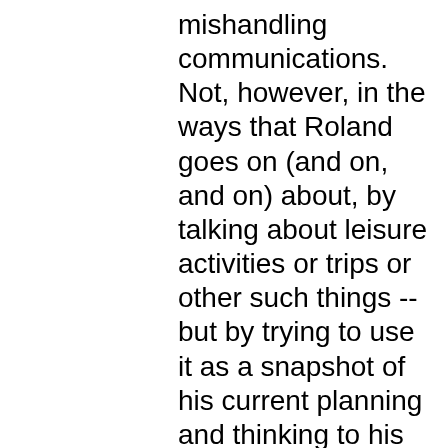mishandling communications. Not, however, in the ways that Roland goes on (and on, and on) about, by talking about leisure activities or trips or other such things -- but by trying to use it as a snapshot of his current planning and thinking to his fanbase. His missteps there have then been taken by people like Roland and turned into a vendetta against him for "broken promises" -- when he was just trying to, y'know, keep people informed and in the loop.